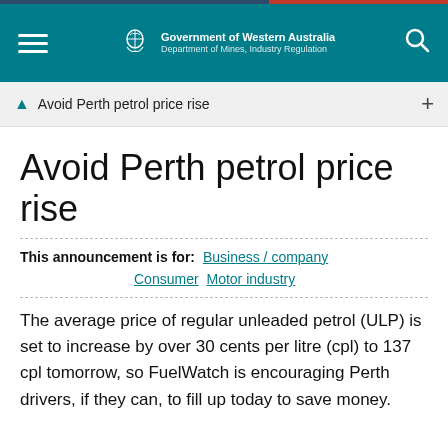[Figure (other): Government of Western Australia - Department of Mines, Industry Regulation website header with teal background, hamburger menu, government crest logo, and search icon]
Avoid Perth petrol price rise
Avoid Perth petrol price rise
This announcement is for: Business / company Consumer Motor industry
The average price of regular unleaded petrol (ULP) is set to increase by over 30 cents per litre (cpl) to 137 cpl tomorrow, so FuelWatch is encouraging Perth drivers, if they can, to fill up today to save money.